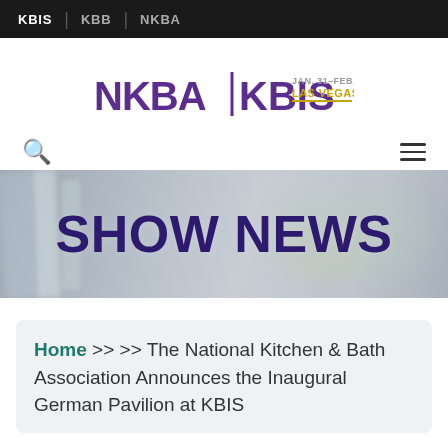KBIS | KBB | NKBA
[Figure (logo): NKBA | KBIS logo with dates JAN. 31–FEB. 2 LAS VEGAS 2023 and gold underline]
[Figure (illustration): SHOW NEWS hero banner with blurred kitchen faucet/glassware background, dark purple bold text]
Home >> >> The National Kitchen & Bath Association Announces the Inaugural German Pavilion at KBIS